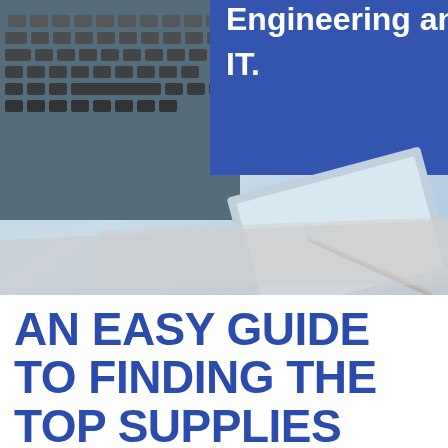[Figure (photo): Top portion shows a laptop keyboard on the left and a blue overlay box on the right with white text reading 'Engineering and IT.' Below the photo is a diagonal light grey decorative chevron/parallelogram shape overlapping the transition to the white area.]
AN EASY GUIDE TO FINDING THE TOP SUPPLIES FOR YOUR BUSINESS